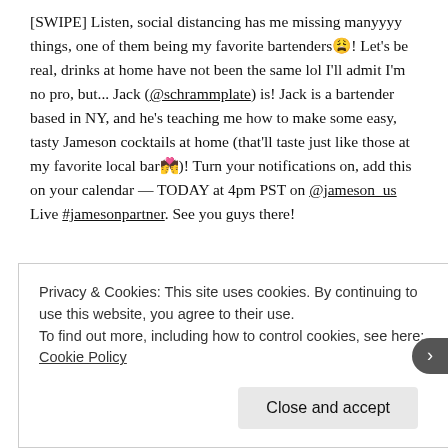[SWIPE] Listen, social distancing has me missing manyyyy things, one of them being my favorite bartenders😩! Let's be real, drinks at home have not been the same lol I'll admit I'm no pro, but... Jack (@schrammplate) is! Jack is a bartender based in NY, and he's teaching me how to make some easy, tasty Jameson cocktails at home (that'll taste just like those at my favorite local bar🥂)! Turn your notifications on, add this on your calendar — TODAY at 4pm PST on @jameson_us Live #jamesonpartner. See you guys there!
Privacy & Cookies: This site uses cookies. By continuing to use this website, you agree to their use. To find out more, including how to control cookies, see here: Cookie Policy
Close and accept